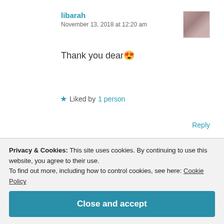libarah
November 13, 2018 at 12:20 am
Thank you dear 😍
★ Liked by 1 person
Reply
-Eugenia
Privacy & Cookies: This site uses cookies. By continuing to use this website, you agree to their use. To find out more, including how to control cookies, see here: Cookie Policy
Close and accept